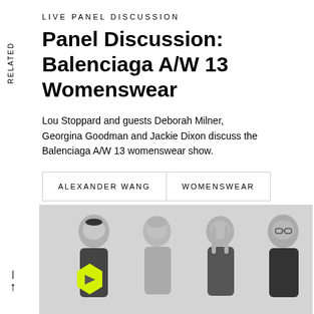RELATED
LIVE PANEL DISCUSSION
Panel Discussion: Balenciaga A/W 13 Womenswear
Lou Stoppard and guests Deborah Milner, Georgina Goodman and Jackie Dixon discuss the Balenciaga A/W 13 womenswear show.
| ALEXANDER WANG | WOMENSWEAR |
| --- | --- |
[Figure (photo): Black and white photo of four people seated for a panel discussion. A play button (yellow hexagon with triangle) overlays the image on the lower left.]